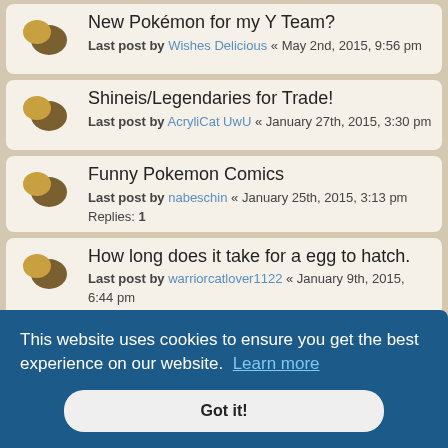New Pokémon for my Y Team?
Last post by Wishes Delicious « May 2nd, 2015, 9:56 pm
Shineis/Legendaries for Trade!
Last post by AcryliCat UwU « January 27th, 2015, 3:30 pm
Funny Pokemon Comics
Last post by nabeschin « January 25th, 2015, 3:13 pm
Replies: 1
How long does it take for a egg to hatch.
Last post by warriorcatlover1122 « January 9th, 2015, 6:44 pm
Replies: 2
Pokémon X and Y ~Chat~
Last post by LollyPi « December 3rd, 2014, 12:50 pm
Replies: 245
This website uses cookies to ensure you get the best experience on our website. Learn more
Got it!